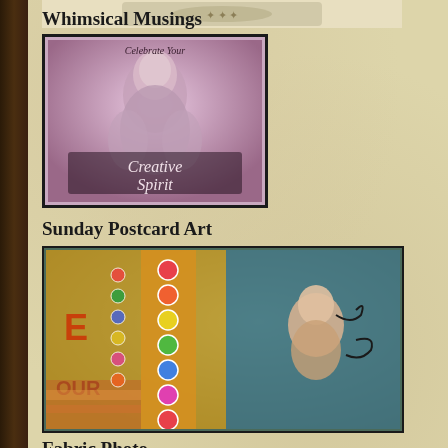[Figure (photo): Partial image visible at top of page, appears to be a decorative or logo image]
Whimsical Musings
[Figure (photo): Vintage-style portrait of a young woman in purple/pink tones with text overlay reading 'Celebrate Your Creative Spirit']
Sunday Postcard Art
[Figure (photo): Colorful mixed media collage postcard art featuring a baby, colorful circles, letters E, Our, and various patterns]
Fabric Photo Memories